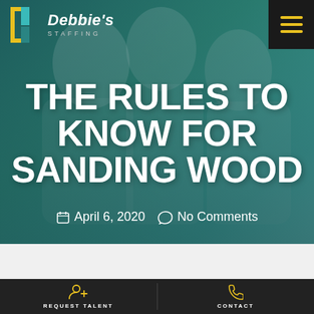[Figure (screenshot): Debbie's Staffing website header with logo (teal and yellow bracket icon) and hamburger menu on dark background]
THE RULES TO KNOW FOR SANDING WOOD
April 6, 2020  No Comments
REQUEST TALENT
CONTACT